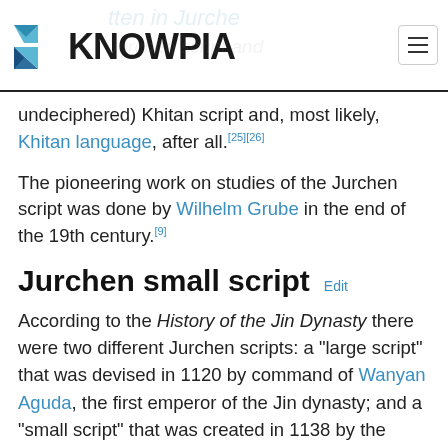KNOWPIA
undeciphered) Khitan script and, most likely, Khitan language, after all.[25][26]
The pioneering work on studies of the Jurchen script was done by Wilhelm Grube in the end of the 19th century.[9]
Jurchen small script Edit
According to the History of the Jin Dynasty there were two different Jurchen scripts: a "large script" that was devised in 1120 by command of Wanyan Aguda, the first emperor of the Jin dynasty; and a "small script" that was created in 1138 by the Emperor Xizong 1135–1150), but which was first officially used in 1145.[4][27] However, all the extant examples of